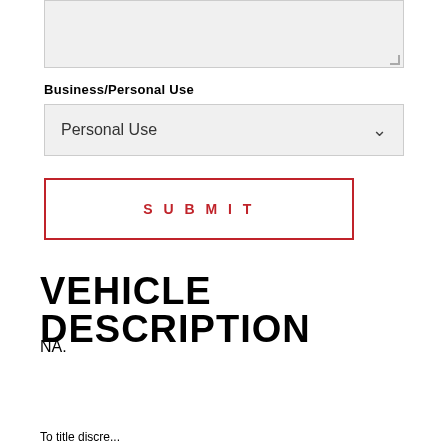[Figure (screenshot): Gray textarea input box with resize handle in bottom right corner]
Business/Personal Use
[Figure (screenshot): Dropdown select box showing 'Personal Use' with chevron icon]
[Figure (screenshot): SUBMIT button with red border and red uppercase letter-spaced text]
VEHICLE DESCRIPTION
NA.
To title discrepancy data for (select criteria below). Note...